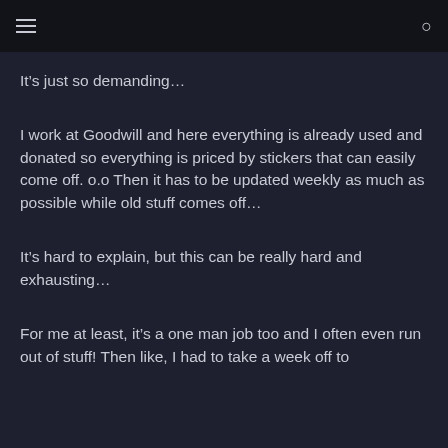It’s just so demanding…
I work at Goodwill and here everything is already used and donated so everything is priced by stickers that can easily come off. o.o Then it has to be updated weekly as much as possible while old stuff comes off…
It’s hard to explain, but this can be really hard and exhausting…
For me at least, it’s a one man job too and I often even run out of stuff! Then like, I had to take a week off to